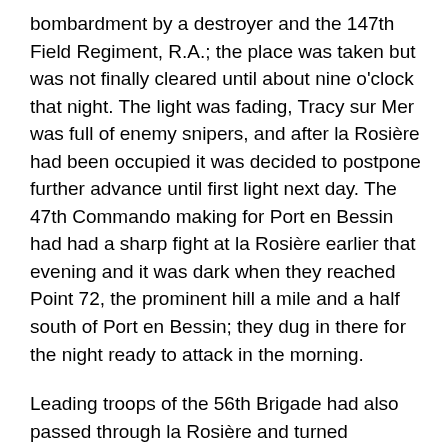bombardment by a destroyer and the 147th Field Regiment, R.A.; the place was taken but was not finally cleared until about nine o'clock that night. The light was fading, Tracy sur Mer was full of enemy snipers, and after la Rosière had been occupied it was decided to postpone further advance until first light next day. The 47th Commando making for Port en Bessin had had a sharp fight at la Rosière earlier that evening and it was dark when they reached Point 72, the prominent hill a mile and a half south of Port en Bessin; they dug in there for the night ready to attack in the morning.
Leading troops of the 56th Brigade had also passed through la Rosière and turned southwards astride the road to Bayeux. As they approached Pouligny radar station the enemy set fire to it and decamped. The South Wales Borderers, in the van, pushed on to Vaux sur Aure and secured the Aure bridge shortly before midnight. The nearby battery had been shelled by the cruiser Argonaut and the vicinity had been bombed; it